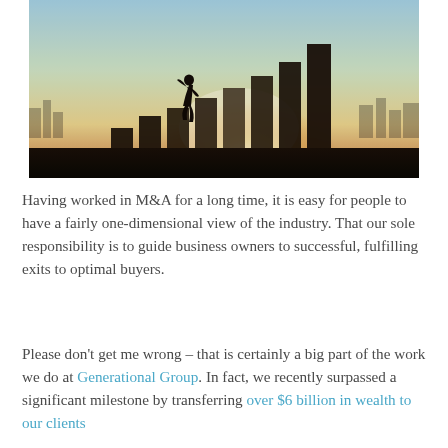[Figure (photo): Silhouette of a person stepping up ascending bar chart columns, backlit by a bright sunrise, with a city skyline in the background.]
Having worked in M&A for a long time, it is easy for people to have a fairly one-dimensional view of the industry. That our sole responsibility is to guide business owners to successful, fulfilling exits to optimal buyers.
Please don't get me wrong – that is certainly a big part of the work we do at Generational Group. In fact, we recently surpassed a significant milestone by transferring over $6 billion in wealth to our clients